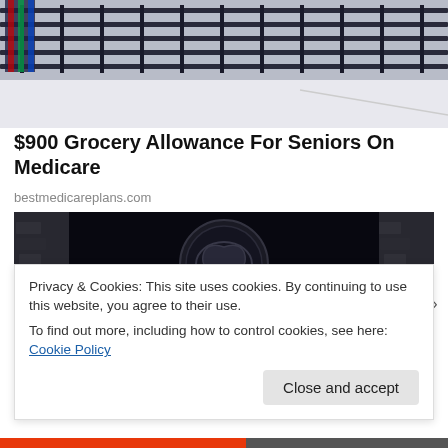[Figure (photo): Top portion of a building with metal railings/fence, partially visible, with white section at bottom]
$900 Grocery Allowance For Seniors On Medicare
bestmedicareplans.com
[Figure (photo): Group of characters in medieval fantasy costumes (Game of Thrones/House of the Dragon style) with a dragon sigil in the background]
Privacy & Cookies: This site uses cookies. By continuing to use this website, you agree to their use.
To find out more, including how to control cookies, see here: Cookie Policy
Close and accept